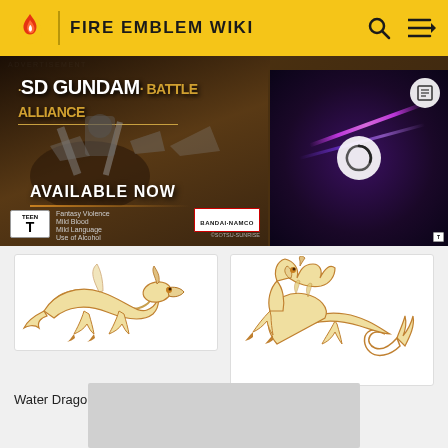FIRE EMBLEM WIKI
[Figure (screenshot): SD Gundam Battle Alliance advertisement banner - 'AVAILABLE NOW', TEEN rated, Fantasy Violence, Mild Blood, Mild Language, Use of Alcohol. Bandai Namco / Sotsu-Sunrise. Shows mecha robots and battle scene.]
[Figure (illustration): Water Dragon - cream/gold colored dragon illustration on white background]
Water Dragon
[Figure (illustration): Wind Dragon - cream/gold colored dragon illustration on white background]
Wind Dragon
[Figure (screenshot): Bottom advertisement placeholder - gray rectangle]